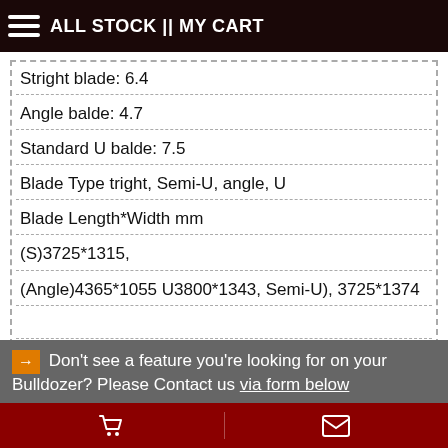ALL STOCK || MY CART
Stright blade: 6.4
Angle balde: 4.7
Standard U balde: 7.5
Blade Type tright, Semi-U, angle, U
Blade Length*Width mm
(S)3725*1315,
(Angle)4365*1055 U3800*1343, Semi-U), 3725*1374
Ripper type Single/Three teeth ripper
Don't see a feature you're looking for on your Bulldozer? Please Contact us via form below